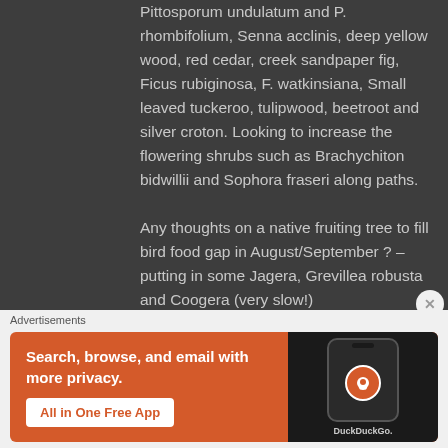Pittosporum undulatum and P. rhombifolium, Senna acclinis, deep yellow wood, red cedar, creek sandpaper fig, Ficus rubiginosa, F. watkinsiana, Small leaved tuckeroo, tulipwood, beetroot and silver croton. Looking to increase the flowering shrubs such as Brachychiton bidwillii and Sophora fraseri along paths. Any thoughts on a native fruiting tree to fill bird food gap in August/September ? – putting in some Jagera, Grevillea robusta and Coogera (very slow!)
Advertisements
[Figure (illustration): DuckDuckGo advertisement banner with orange background. Left side shows text: 'Search, browse, and email with more privacy.' with a white button 'All in One Free App'. Right side shows a dark panel with a smartphone mockup displaying the DuckDuckGo logo and 'DuckDuckGo.' brand name.]